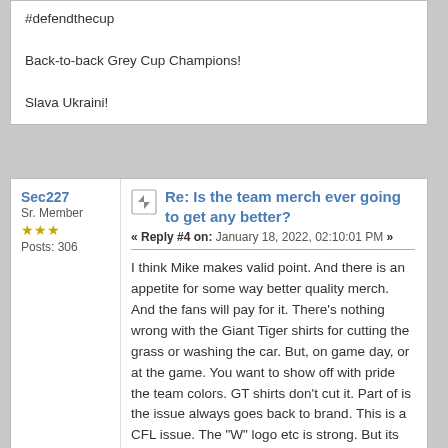#defendthecup

Back-to-back Grey Cup Champions!

Slava Ukraini!
Sec227
Sr. Member
★★★
Posts: 306
Re: Is the team merch ever going to get any better?
« Reply #4 on: January 18, 2022, 02:10:01 PM »
I think Mike makes valid point. And there is an appetite for some way better quality merch. And the fans will pay for it. There's nothing wrong with the Giant Tiger shirts for cutting the grass or washing the car. But, on game day, or at the game. You want to show off with pride the team colors. GT shirts don't cut it. Part of is the issue always goes back to brand. This is a CFL issue. The "W" logo etc is strong. But its hard to get for example a "biggee" shirt or someone else. Build that into a marketing thing. If the CFL keeps doing one year contracts. Why heck spend $$ on something that's gone in a few years.

I for one this year spent heavy on the decent stuff. $90 hoodie, $85 sideline pullover. No stick on logos. No peoples names. Just the W. The hoodies I got at the bomber store feels and looks way better the the